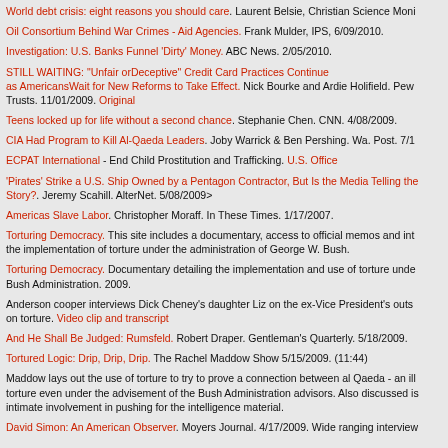World debt crisis: eight reasons you should care. Laurent Belsie, Christian Science Monitor.
Oil Consortium Behind War Crimes - Aid Agencies. Frank Mulder, IPS, 6/09/2010.
Investigation: U.S. Banks Funnel 'Dirty' Money. ABC News. 2/05/2010.
STILL WAITING: "Unfair orDeceptive" Credit Card Practices Continue as AmericansWait for New Reforms to Take Effect. Nick Bourke and Ardie Holifield. Pew Trusts. 11/01/2009. Original
Teens locked up for life without a second chance. Stephanie Chen. CNN. 4/08/2009.
CIA Had Program to Kill Al-Qaeda Leaders. Joby Warrick & Ben Pershing. Wa. Post. 7/1
ECPAT International - End Child Prostitution and Trafficking. U.S. Office
'Pirates' Strike a U.S. Ship Owned by a Pentagon Contractor, But Is the Media Telling the Story?. Jeremy Scahill. AlterNet. 5/08/2009>
Americas Slave Labor. Christopher Moraff. In These Times. 1/17/2007.
Torturing Democracy. This site includes a documentary, access to official memos and int the implementation of torture under the administration of George W. Bush.
Torturing Democracy. Documentary detailing the implementation and use of torture unde Bush Administration. 2009.
Anderson cooper interviews Dick Cheney's daughter Liz on the ex-Vice President's outs on torture. Video clip and transcript
And He Shall Be Judged: Rumsfeld. Robert Draper. Gentleman's Quarterly. 5/18/2009.
Tortured Logic: Drip, Drip, Drip. The Rachel Maddow Show 5/15/2009. (11:44)
Maddow lays out the use of torture to try to prove a connection between al Qaeda - an ill torture even under the advisement of the Bush Administration advisors. Also discussed is intimate involvement in pushing for the intelligence material.
David Simon: An American Observer. Moyers Journal. 4/17/2009. Wide ranging interview